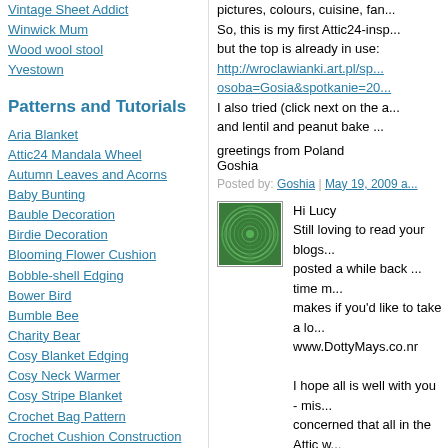Vintage Sheet Addict
Winwick Mum
Wood wool stool
Yvestown
Patterns and Tutorials
Aria Blanket
Attic24 Mandala Wheel
Autumn Leaves and Acorns
Baby Bunting
Bauble Decoration
Birdie Decoration
Blooming Flower Cushion
Bobble-shell Edging
Bower Bird
Bumble Bee
Charity Bear
Cosy Blanket Edging
Cosy Neck Warmer
Cosy Stripe Blanket
Crochet Bag Pattern
Crochet Cushion Construction
Crochet Daffodil
Crochet Daisy
Crochet Fern Leaf
pictures, colours, cuisine, fan...
So, this is my first Attic24-insp...
but the top is already in use:
http://wroclawianki.art.pl/sp...
osoba=Gosia&spotkanie=20...
I also tried (click next on the a...
and lentil and peanut bake ...

greetings from Poland
Goshia
Posted by: Goshia | May 19, 2009 a...
[Figure (photo): Green mandala/spiral crochet pattern thumbnail]
Hi Lucy
Still loving to read your blogs...
posted a while back ... time m...
makes if you'd like to take a lo...
www.DottyMays.co.nr

I hope all is well with you - mis...
concerned that all in the Attic w...

Emma
Posted by: Emma - Dotty Mays | Ma...
[Figure (photo): Blue and white wavy/striped crochet pattern thumbnail]
Hi there!

I think this has been a great in...